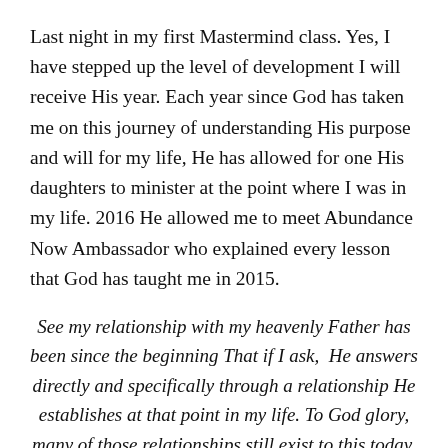Last night in my first Mastermind class. Yes, I have stepped up the level of development I will receive His year. Each year since God has taken me on this journey of understanding His purpose and will for my life, He has allowed for one His daughters to minister at the point where I was in my life. 2016 He allowed me to meet Abundance Now Ambassador who explained every lesson that God has taught me in 2015.
See my relationship with my heavenly Father has been since the beginning That if I ask,  He answers directly and specifically through a relationship He establishes at that point in my life. To God glory, many of those relationships still exist to this today.